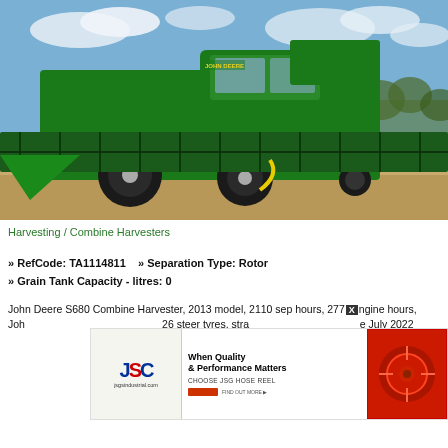[Figure (photo): John Deere S680 green combine harvester with large header attachment, parked in a dry field under blue sky with clouds and trees in background.]
Harvesting / Combine Harvesters
» RefCode: TA1114811    » Separation Type: Rotor
» Grain Tank Capacity - litres: 0
John Deere S680 Combine Harvester, 2013 model, 2110 sep hours, 277 engine hours, Joh... 26 steer tyres, stra... e July 2022
[Figure (photo): JSG Industrial advertisement banner: When Quality & Performance Matters - Choose JSG Hose Reel]